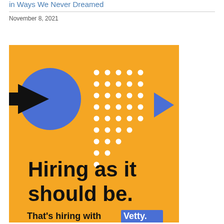in Ways We Never Dreamed
November 8, 2021
[Figure (illustration): Advertisement graphic with orange/yellow background featuring abstract shapes: a blue circle, black arrow/chevron pointing right, a grid of white dots, and a small blue triangle/chevron. Text reads 'Hiring as it should be. That's hiring with Vetty.' where 'Vetty.' appears in white text on a blue rectangle.]